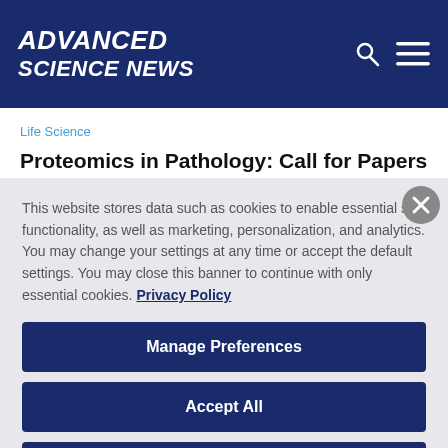ADVANCED SCIENCE NEWS
Life Science
Proteomics in Pathology: Call for Papers for Upcoming Special Issue
This website stores data such as cookies to enable essential site functionality, as well as marketing, personalization, and analytics. You may change your settings at any time or accept the default settings. You may close this banner to continue with only essential cookies. Privacy Policy
Manage Preferences
Accept All
Reject All